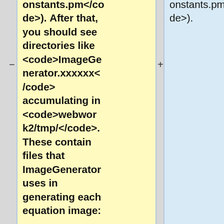onstants.pm</code>). After that, you should see directories like <code>ImageGenerator.xxxxxx</code> accumulating in <code>webwork2/tmp/</code>. These contain files that ImageGenerator uses in generating each equation image:
onstants.pm</code>).
(Note that there is a similar setting for hardcopy: <code>$WeBWork::ContentGene